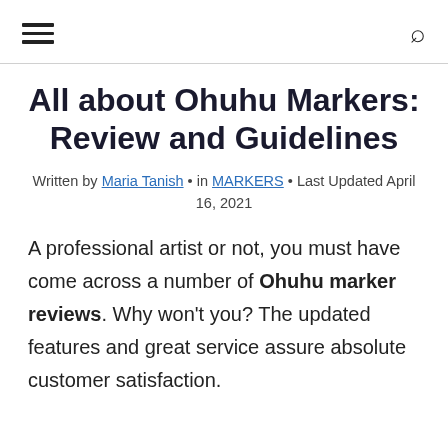≡  🔍
All about Ohuhu Markers: Review and Guidelines
Written by Maria Tanish • in MARKERS • Last Updated April 16, 2021
A professional artist or not, you must have come across a number of Ohuhu marker reviews. Why won't you? The updated features and great service assure absolute customer satisfaction.